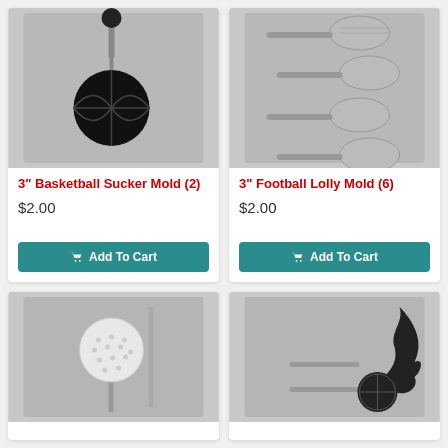[Figure (photo): 3 inch Basketball Sucker Mold showing two basketball lollipop cavities on a gray mold tray]
3" Basketball Sucker Mold (2)
$2.00
Add To Cart
[Figure (photo): 3 inch Football Lolly Mold showing six football-shaped lollipop cavities on a gray mold tray]
3" Football Lolly Mold (6)
$2.00
Add To Cart
[Figure (photo): Golf ball on tee sucker mold showing a golf ball on a tee with a stick, on a gray mold tray]
[Figure (photo): Flaming ball sucker mold showing a ball with flames and stick on a gray mold tray]